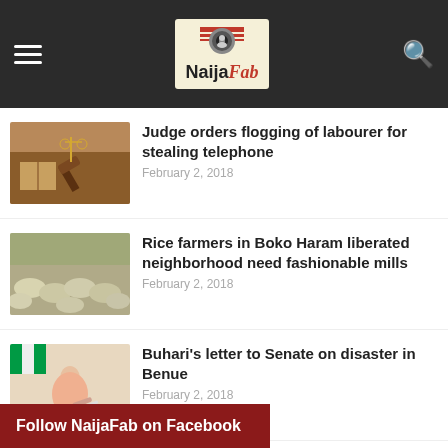NaijaFab
Judge orders flogging of labourer for stealing telephone
February 2, 2018
Rice farmers in Boko Haram liberated neighborhood need fashionable mills
February 2, 2018
Buhari's letter to Senate on disaster in Benue
February 2, 2018
Follow NaijaFab on Facebook